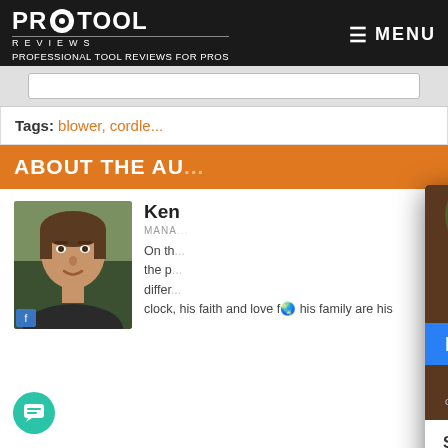PRO TOOL REVIEWS — PROFESSIONAL TOOL REVIEWS FOR PROS
Tags: blower, cordle...
ABOUT THE AU...
[Figure (photo): Headshot of author Ken, a man with short hair wearing a dark jacket, outdoors with greenery in background]
Ken
MANA...
On th... the p... differ... clock, his faith and love for his family are his
[Figure (infographic): Popup overlay showing a free whitepaper offer for Best Tools for Your Hard-Earned Dollar, with email subscription form and Subscribe button]